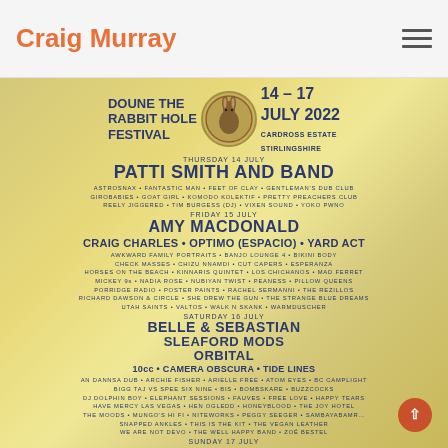Craig Murray
[Figure (illustration): Doune the Rabbit Hole Festival poster, 14-17 July 2022, Cardross Estate Stirlingshire. Shows lineup including Patti Smith and Band (Thursday 14 July), Amy Macdonald, Craig Charles, Optimo (Espacio), Yard Act (Friday 15 July), Belle & Sebastian, Sleaford Mods, Orbital, 10cc, Camera Obscura, Tide Lines (Saturday 16 July), and Teenage Fanclub (Sunday 17 July, partially visible). Festival branding includes a rabbit logo in a circular badge. Background has decorative botanical/nature illustrations in gold/tan tones.]